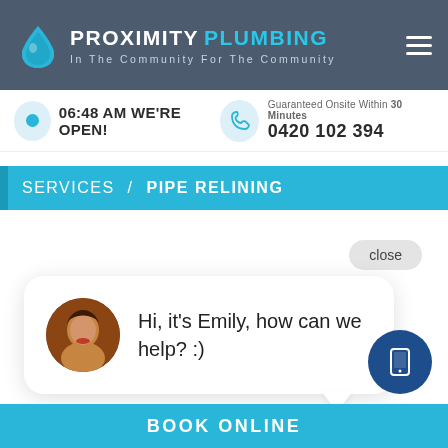PROXIMITY PLUMBING — In The Community For The Community
06:48 AM WE'RE OPEN!
Guaranteed Onsite Within 30 Minutes
0420 102 394
SERVICES / PIPE RELINING
close
Hi, it's Emily, how can we help? :)
BOOK ONLINE